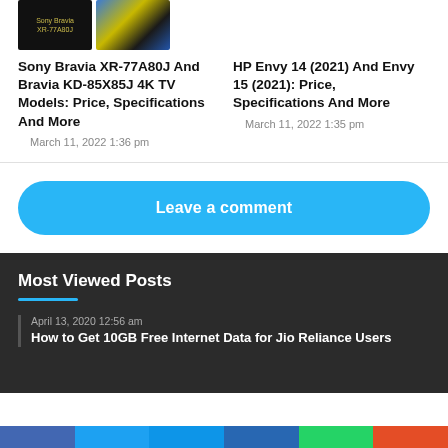[Figure (photo): Sony Bravia XR-77A80J product image on black background]
[Figure (photo): Gold/blue car hood photo]
Sony Bravia XR-77A80J And Bravia KD-85X85J 4K TV Models: Price, Specifications And More
March 11, 2022 1:36 pm
HP Envy 14 (2021) And Envy 15 (2021): Price, Specifications And More
March 11, 2022 1:35 pm
Leave a comment
Most Viewed Posts
April 13, 2020 12:56 am
How to Get 10GB Free Internet Data for Jio Reliance Users